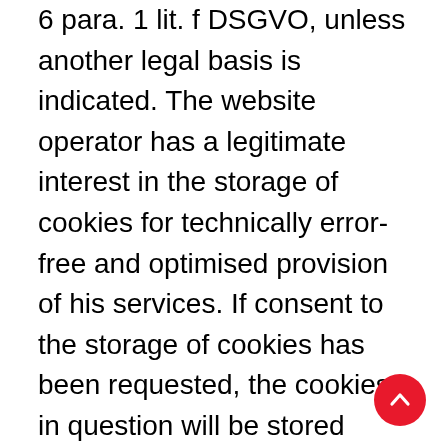6 para. 1 lit. f DSGVO, unless another legal basis is indicated. The website operator has a legitimate interest in the storage of cookies for technically error-free and optimised provision of his services. If consent to the storage of cookies has been requested, the cookies in question will be stored exclusively on the basis of this consent (Art. 6 para. 1 lit. a DSGVO); consent may be revoked at any time.
You can set your browser so that you are informed about the setting of